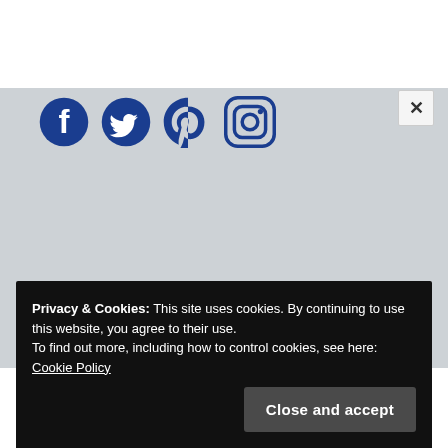[Figure (illustration): Social media icons: Facebook, Twitter, Pinterest, Instagram — all in dark blue, displayed in a row on a gray background]
[Figure (other): Close button (X) in the top-right corner on a light background]
Home
Privacy & Cookies: This site uses cookies. By continuing to use this website, you agree to their use.
To find out more, including how to control cookies, see here: Cookie Policy
Close and accept